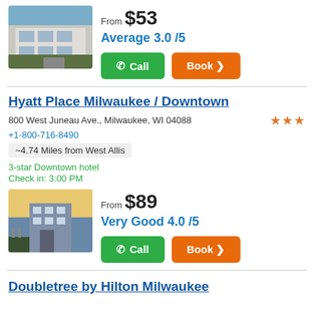[Figure (photo): Hotel exterior photo at top of page (partial card)]
From $53
Average 3.0 /5
Call
Book >
Hyatt Place Milwaukee / Downtown
800 West Juneau Ave., Milwaukee, WI 04088
+1-800-716-8490
~4.74 Miles from West Allis
3-star Downtown hotel
Check in: 3:00 PM
[Figure (photo): Hyatt Place Milwaukee Downtown hotel exterior photo]
From $89
Very Good 4.0 /5
Call
Book >
Doubletree by Hilton Milwaukee